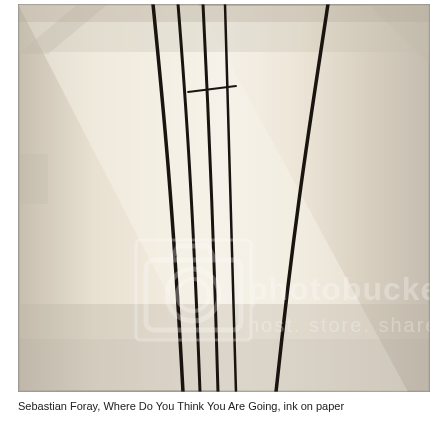[Figure (illustration): Photograph of an artwork: Sebastian Foray's 'Where Do You Think You Are Going', ink on paper. The image shows a cream/beige paper with several curved black ink lines running vertically and slightly converging, suggesting a road or path perspective. A small horizontal mark appears near the top. A Photobucket watermark is overlaid in the center of the image.]
Sebastian Foray, Where Do You Think You Are Going, ink on paper